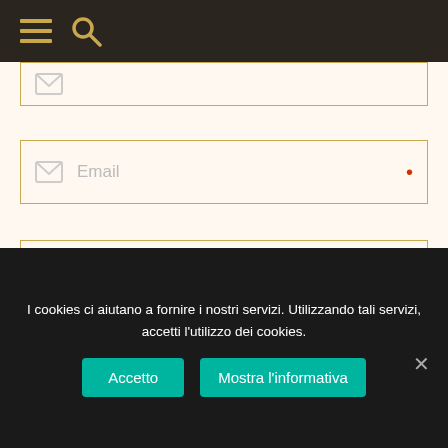Navigation bar with hamburger menu and search icon
Email •
Website
I cookies ci aiutano a fornire i nostri servizi. Utilizzando tali servizi, accetti l'utilizzo dei cookies. Accetto  Mostra l'informativa